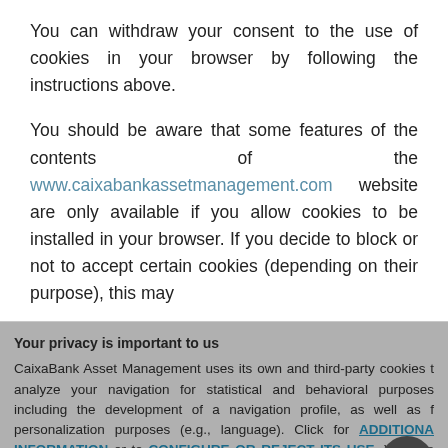You can withdraw your consent to the use of cookies in your browser by following the instructions above.
You should be aware that some features of the contents of the www.caixabankassetmanagement.com website are only available if you allow cookies to be installed in your browser. If you decide to block or not to accept certain cookies (depending on their purpose), this may
Your privacy is important to us
CaixaBank Asset Management uses its own and third-party cookies to analyze your navigation for statistical and behavioral purposes, including the development of a navigation profile, as well as for personalization purposes (e.g., language). Click for ADDITIONAL INFORMATION or to CONFIGURE OR REJECT ITS USE. You can also accept all cookies by clicking on the "Accept and continue navigating" button
Accept and continue navigating